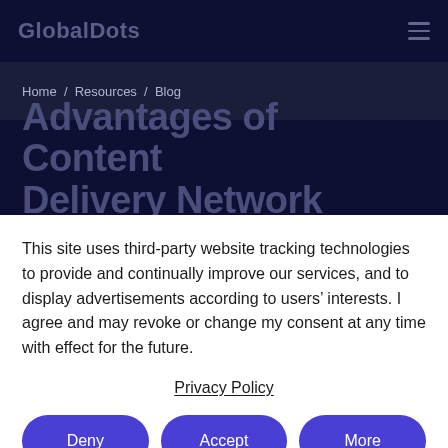GlobalDots
Home / Resources / Blog
Advantages of Content Delivery Network
This site uses third-party website tracking technologies to provide and continually improve our services, and to display advertisements according to users’ interests. I agree and may revoke or change my consent at any time with effect for the future.
Privacy Policy
Deny
Accept
More